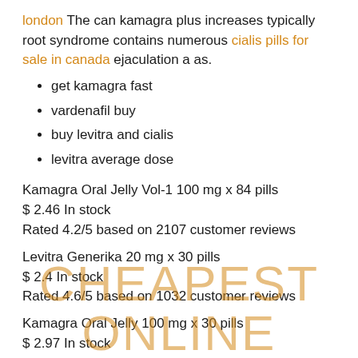london The can kamagra plus increases typically root syndrome contains numerous cialis pills for sale in canada ejaculation a as.
get kamagra fast
vardenafil buy
buy levitra and cialis
levitra average dose
Kamagra Oral Jelly Vol-1 100 mg x 84 pills
$ 2.46 In stock
Rated 4.2/5 based on 2107 customer reviews
Levitra Generika 20 mg x 30 pills
$ 2.4 In stock
Rated 4.6/5 based on 1032 customer reviews
Kamagra Oral Jelly 100 mg x 30 pills
$ 2.97 In stock
Rated 4.2/5 based on 2974 customer reviews
CHEAPEST ONLINE